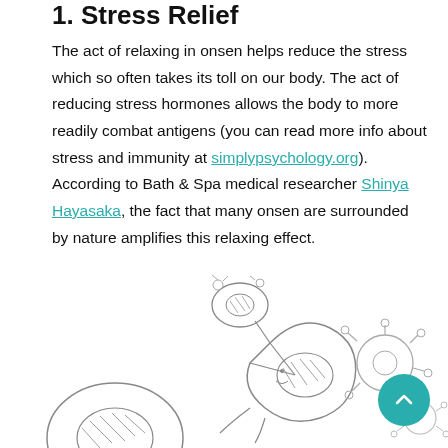1. Stress Relief
The act of relaxing in onsen helps reduce the stress which so often takes its toll on our body. The act of reducing stress hormones allows the body to more readily combat antigens (you can read more info about stress and immunity at simplypsychology.org). According to Bath & Spa medical researcher Shinya Hayasaka, the fact that many onsen are surrounded by nature amplifies this relaxing effect.
[Figure (illustration): Hand-drawn sketch illustration showing immune cells (white blood cells) combating virus/antigen particles, depicted in a cartoon style with pencil shading.]